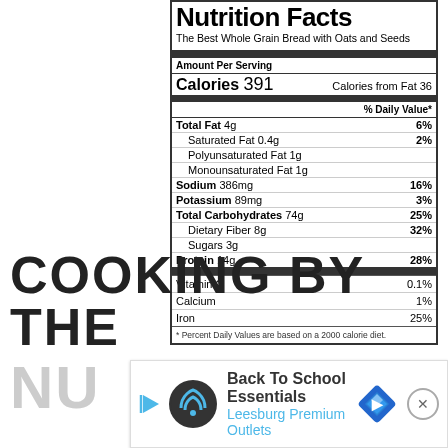Nutrition Facts
The Best Whole Grain Bread with Oats and Seeds
| Nutrient | Amount | % DV |
| --- | --- | --- |
| Amount Per Serving |  |  |
| Calories | 391 | Calories from Fat 36 |
|  |  | % Daily Value* |
| Total Fat | 4g | 6% |
| Saturated Fat | 0.4g | 2% |
| Polyunsaturated Fat | 1g |  |
| Monounsaturated Fat | 1g |  |
| Sodium | 386mg | 16% |
| Potassium | 89mg | 3% |
| Total Carbohydrates | 74g | 25% |
| Dietary Fiber | 8g | 32% |
| Sugars | 3g |  |
| Protein | 14g | 28% |
| Vitamin C |  | 0.1% |
| Calcium |  | 1% |
| Iron |  | 25% |
* Percent Daily Values are based on a 2000 calorie diet.
COOKING BY THE
NU